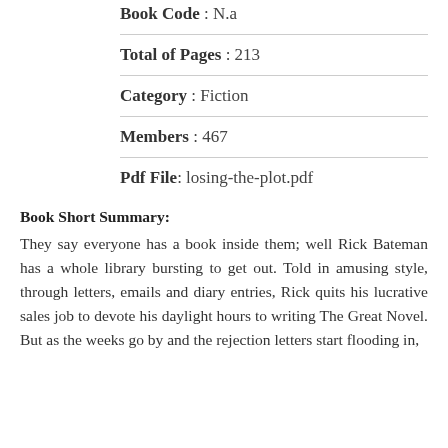Book Code : N.a
Total of Pages : 213
Category : Fiction
Members : 467
Pdf File: losing-the-plot.pdf
Book Short Summary:
They say everyone has a book inside them; well Rick Bateman has a whole library bursting to get out. Told in amusing style, through letters, emails and diary entries, Rick quits his lucrative sales job to devote his daylight hours to writing The Great Novel. But as the weeks go by and the rejection letters start flooding in,